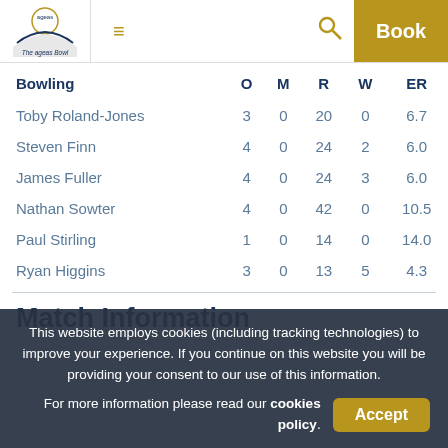The ageas Bowl — navbar with logo, hamburger menu, search, and Book button
| Bowling | O | M | R | W | ER |
| --- | --- | --- | --- | --- | --- |
| Toby Roland-Jones | 3 | 0 | 20 | 0 | 6.7 |
| Steven Finn | 4 | 0 | 24 | 2 | 6.0 |
| James Fuller | 4 | 0 | 24 | 3 | 6.0 |
| Nathan Sowter | 4 | 0 | 42 | 0 | 10.5 |
| Paul Stirling | 1 | 0 | 14 | 0 | 14.0 |
| Ryan Higgins | 3 | 0 | 13 | 5 | 4.3 |
Match Information
This website employs cookies (including tracking technologies) to improve your experience. If you continue on this website you will be providing your consent to our use of this information.
For more information please read our cookies policy.